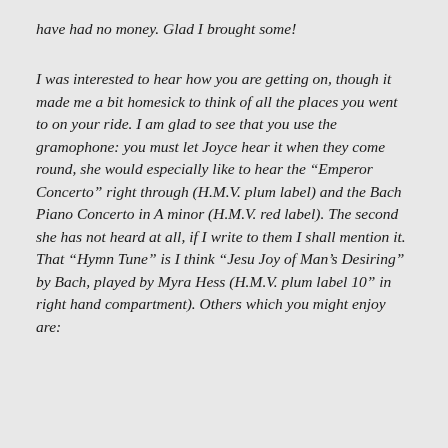have had no money. Glad I brought some!
I was interested to hear how you are getting on, though it made me a bit homesick to think of all the places you went to on your ride. I am glad to see that you use the gramophone: you must let Joyce hear it when they come round, she would especially like to hear the “Emperor Concerto” right through (H.M.V. plum label) and the Bach Piano Concerto in A minor (H.M.V. red label). The second she has not heard at all, if I write to them I shall mention it. That “Hymn Tune” is I think “Jesu Joy of Man’s Desiring” by Bach, played by Myra Hess (H.M.V. plum label 10” in right hand compartment). Others which you might enjoy are: